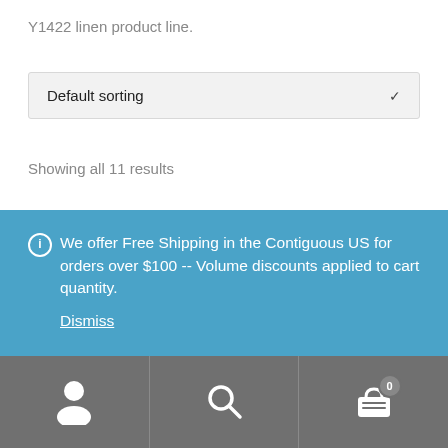Y1422 linen product line.
Default sorting
Showing all 11 results
[Figure (photo): Product image showing textured linen fabric surface with a dark object partially visible at the bottom center]
We offer Free Shipping in the Contiguous US for orders over $100 -- Volume discounts applied to cart quantity. Dismiss